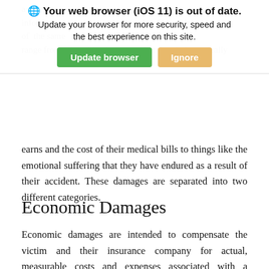[Figure (screenshot): Browser update notification banner with globe icon, bold title 'Your web browser (iOS 11) is out of date.', subtitle 'Update your browser for more security, speed and the best experience on this site.', and two buttons: green 'Update browser' and tan 'Ignore'.]
earns and the cost of their medical bills to things like the emotional suffering that they have endured as a result of their accident. These damages are separated into two different categories.
Economic Damages
Economic damages are intended to compensate the victim and their insurance company for actual, measurable costs and expenses associated with a pedestrian accident and the resulting injuries. This includes things like medical expenses, surgeries, prescriptions, and other healthcare costs, but it also includes impacts on the victim's income.